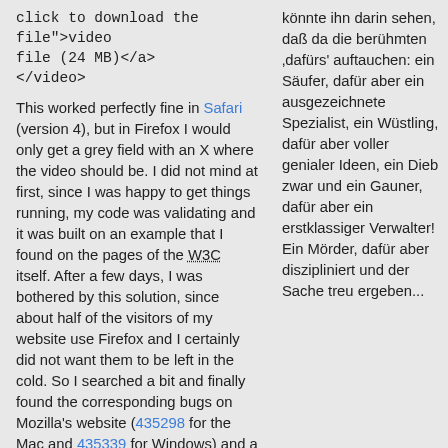click to download the file">video file (24 MB)</a>
</video>
This worked perfectly fine in Safari (version 4), but in Firefox I would only get a grey field with an X where the video should be. I did not mind at first, since I was happy to get things running, my code was validating and it was built on an example that I found on the pages of the W3C itself. After a few days, I was bothered by this solution, since about half of the visitors of my website use Firefox and I certainly did not want them to be left in the cold. So I searched a bit and finally found the corresponding bugs on Mozilla's website (435298 for the Mac and 435339 for Windows) and a general discussion of the issue. In all of these places, the Firefox developers clearly state that they won't be supporting
könnte ihn darin sehen, daß da die berühmten ‚dafürs' auftauchen: ein Säufer, dafür aber ein ausgezeichneter Spezialist, ein Wüstling, dafür aber voller genialer Ideen, ein Dieb zwar und ein Gauner, dafür aber ein erstklassiger Verwalter! Ein Mörder, dafür aber diszipliniert und der Sache treu ergeben...